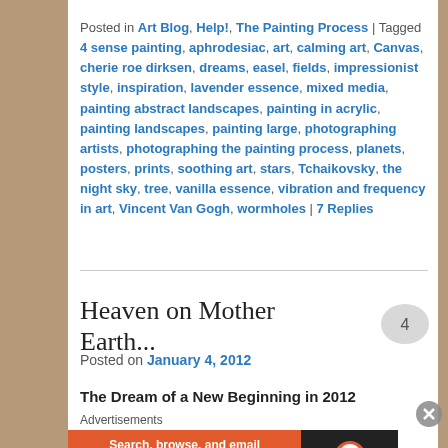Posted in Art Blog, Help!, The Painting Process | Tagged 4 sense painting, aphrodesiac, art, calming art, Canvas, cherie roe dirksen, dreams, easel, fields, impressionist style, inspiration, lavender essence, mixed media, painting abstract landscapes, painting in acrylic, painting landscapes, painting large, photographing artists, photographing the painting process, planets, posters, prints, soothing art, stars, Tchaikovsky, the night sky, tree, vanilla essence, vibration and frequency in art, Vincent Van Gogh, wormholes | 7 Replies
Heaven on Mother Earth...
Posted on January 4, 2012
4 (comment count)
The Dream of a New Beginning in 2012
Advertisements
[Figure (screenshot): DuckDuckGo advertisement banner: Search, browse, and email with more privacy. All in One Free App. DuckDuckGo logo on dark background.]